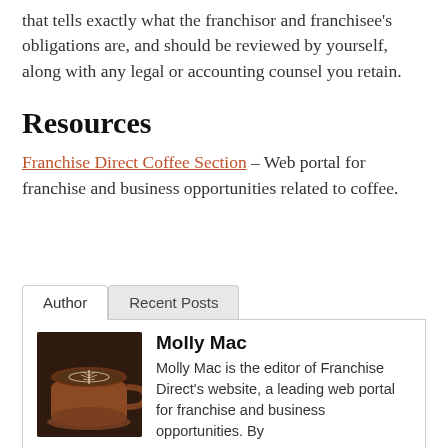that tells exactly what the franchisor and franchisee's obligations are, and should be reviewed by yourself, along with any legal or accounting counsel you retain.
Resources
Franchise Direct Coffee Section – Web portal for franchise and business opportunities related to coffee.
Author | Recent Posts
[Figure (photo): Photo of a latte art coffee cup in a brown ceramic cup, viewed from above on a dark surface]
Molly Mac
Molly Mac is the editor of Franchise Direct's website, a leading web portal for franchise and business opportunities. By